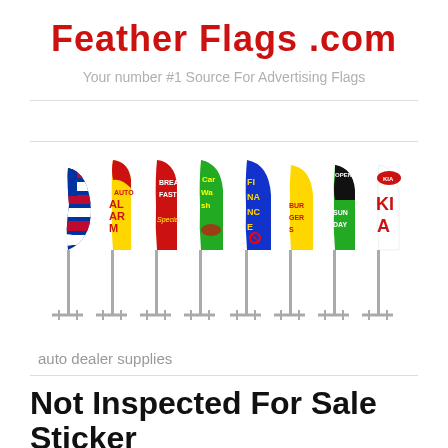Feather Flags .com
Your number #1 Source For Advertising Flags
[Figure (photo): Eight feather/swooper flags on stands showing various designs: American flag/eagle, Auto Alarm (yellow/red), Breakfast Special (red), Car Wash (green), Finance (blue/yellow), Burgers (yellow), Open Sunday (green/black), KIA (white/red)]
auto dealer supplies
Not Inspected For Sale Sticker